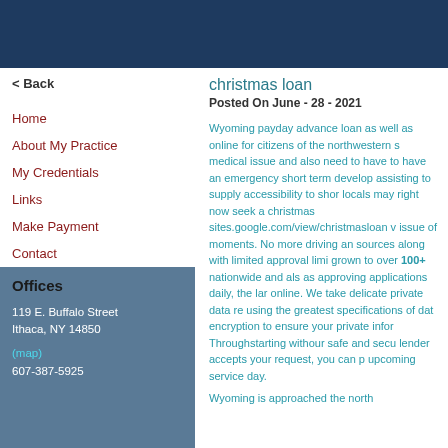< Back
christmas loan
Posted On June - 28 - 2021
Home
About My Practice
My Credentials
Links
Make Payment
Contact
Offices
119 E. Buffalo Street
Ithaca, NY 14850
(map)
607-387-5925
Wyoming payday advance loan as well as online for citizens of the northwestern s medical issue and also need to have to have an emergency short term develop assisting to supply accessibility to shor locals may right now seek a christmas sites.google.com/view/christmasloan v issue of moments. No more driving an sources along withlimited approval limi grown to over 100+ nationwide and als as approving applications daily, the lar online. We take delicate private data re using the greatest specifications of dat encryption to ensure your private infor Throughstarting withour safe and secu lender accepts your request, you can p upcoming service day.

Wyoming is approached the north